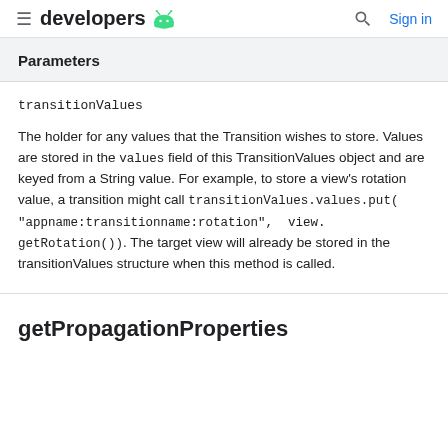developers [android logo] | Search | Sign in
Parameters
transitionValues
The holder for any values that the Transition wishes to store. Values are stored in the values field of this TransitionValues object and are keyed from a String value. For example, to store a view's rotation value, a transition might call transitionValues.values.put("appname:transitionname:rotation", view.getRotation()). The target view will already be stored in the transitionValues structure when this method is called.
getPropagationProperties